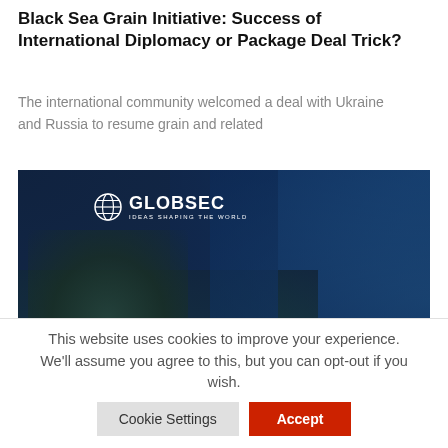Black Sea Grain Initiative: Success of International Diplomacy or Package Deal Trick?
The international community welcomed a deal with Ukraine and Russia to resume grain and related
[Figure (photo): GLOBSEC branded image with dark blue and green background showing a globe/map texture with a red dot in the lower left and large bold white text reading 'Ukraine' at the bottom.]
This website uses cookies to improve your experience. We'll assume you agree to this, but you can opt-out if you wish.